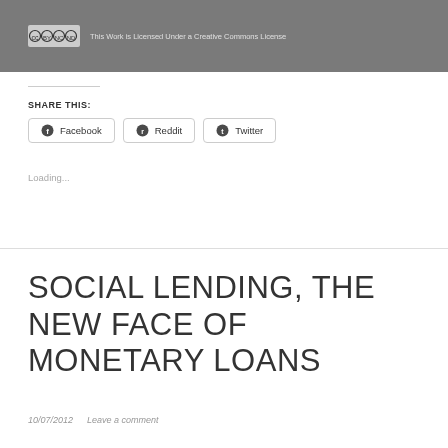[Figure (logo): Creative Commons license banner with CC BY NC ND icons and text: This Work is Licensed Under a Creative Commons License]
SHARE THIS:
Facebook   Reddit   Twitter
Loading...
SOCIAL LENDING, THE NEW FACE OF MONETARY LOANS
10/07/2012   Leave a comment